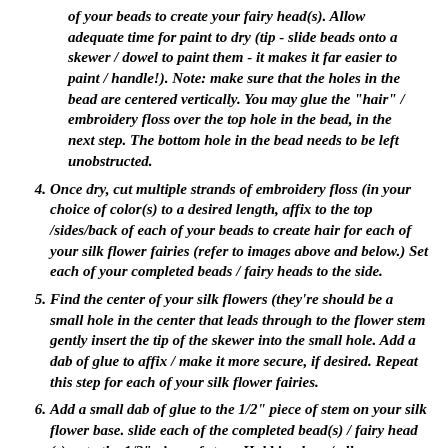of your beads to create your fairy head(s). Allow adequate time for paint to dry (tip - slide beads onto a skewer / dowel to paint them - it makes it far easier to paint / handle!). Note: make sure that the holes in the bead are centered vertically. You may glue the "hair" / embroidery floss over the top hole in the bead, in the next step. The bottom hole in the bead needs to be left unobstructed.
4. Once dry, cut multiple strands of embroidery floss (in your choice of color(s) to a desired length, affix to the top /sides/back of each of your beads to create hair for each of your silk flower fairies (refer to images above and below.) Set each of your completed beads / fairy heads to the side.
5. Find the center of your silk flowers (they're should be a small hole in the center that leads through to the flower stem gently insert the tip of the skewer into the small hole. Add a dab of glue to affix / make it more secure, if desired. Repeat this step for each of your silk flower fairies.
6. Add a small dab of glue to the 1/2" piece of stem on your silk flower base. slide each of the completed bead(s) / fairy head (s) onto the 1/2" piece of stem. Hold in place / allow adequate time for the glue to set / dry. Repeat this step to